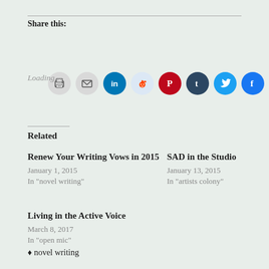Share this:
[Figure (infographic): Row of social sharing icon circles: print, email, LinkedIn, Reddit, Pinterest, Tumblr, Twitter, Facebook]
Loading…
Related
Renew Your Writing Vows in 2015
January 1, 2015
In "novel writing"
SAD in the Studio
January 13, 2015
In "artists colony"
Living in the Active Voice
March 8, 2017
In "open mic"
♦ novel writing